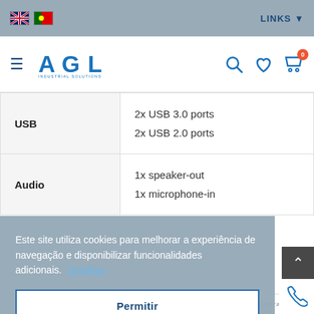LINKS | AGL Industrial Solutions navigation header
| Feature | Specification |
| --- | --- |
| USB | 2x USB 3.0 ports
2x USB 2.0 ports |
| Audio | 1x speaker-out
1x microphone-in |
Este site utiliza cookies para melhorar a experiência de navegação e disponibilizar funcionalidades adicionais. Detalhes
Permitir
HOME   PRODUTOS   FAVORITOS   CONTA   CONTACTOS